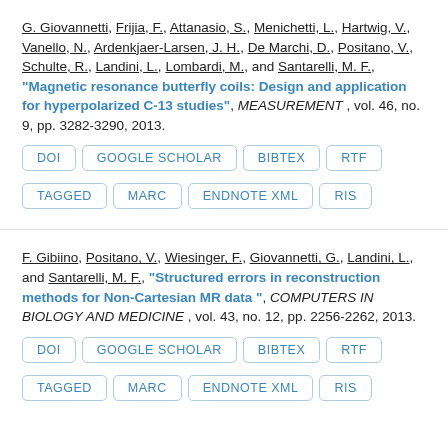G. Giovannetti, Frijia, F., Attanasio, S., Menichetti, L., Hartwig, V., Vanello, N., Ardenkjaer-Larsen, J. H., De Marchi, D., Positano, V., Schulte, R., Landini, L., Lombardi, M., and Santarelli, M. F., "Magnetic resonance butterfly coils: Design and application for hyperpolarized C-13 studies", MEASUREMENT , vol. 46, no. 9, pp. 3282-3290, 2013.
F. Gibiino, Positano, V., Wiesinger, F., Giovannetti, G., Landini, L., and Santarelli, M. F., "Structured errors in reconstruction methods for Non-Cartesian MR data ", COMPUTERS IN BIOLOGY AND MEDICINE , vol. 43, no. 12, pp. 2256-2262, 2013.